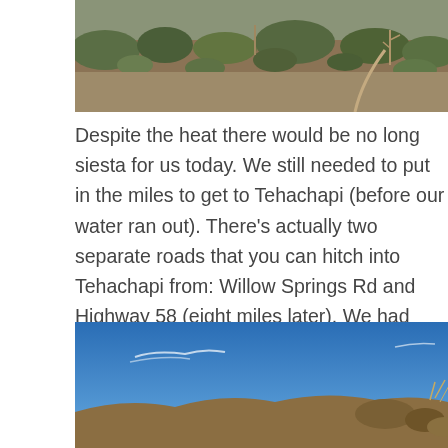[Figure (photo): Top portion of a hillside photo showing dry brush, scrubby trees, and a dirt trail winding through arid terrain.]
Despite the heat there would be no long siesta for us today. We still needed to put in the miles to get to Tehachapi (before our water ran out). There's actually two separate roads that you can hitch into Tehachapi from: Willow Springs Rd and Highway 58 (eight miles later). We had opted to go the extra miles to Highway 58 to cut down on the water carry out of town when our packs will be loaded with 7 days of food. We'd just have to pay for that decision now.
[Figure (photo): Bottom photo showing a bright blue sky with thin wispy clouds, and a hillside with dry vegetation and rocky terrain in the lower right corner.]